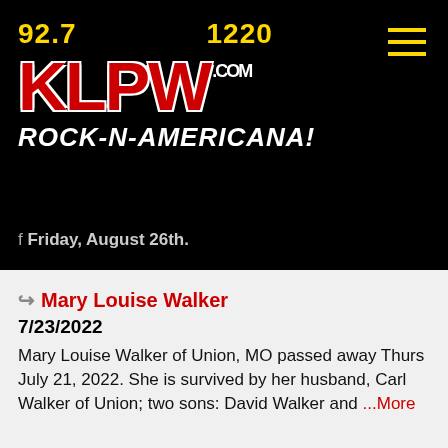[Figure (logo): KLPW radio station logo with frequencies 92.7 and 1220, red KLPW text with .com, white ROCK-N-AMERICANA! tagline, on black background]
f Friday, August 26th.
Mary Louise Walker
7/23/2022
Mary Louise Walker of Union, MO passed away Thurs July 21, 2022. She is survived by her husband, Carl Walker of Union; two sons: David Walker and ...More